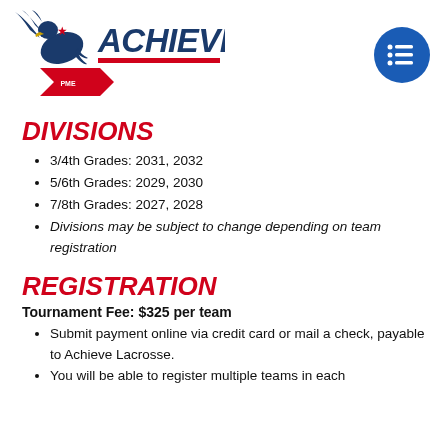[Figure (logo): AchieveLax lacrosse organization logo with eagle and red chevron, blue and red text]
[Figure (other): Blue circle with white menu/list lines icon]
DIVISIONS
3/4th Grades: 2031, 2032
5/6th Grades: 2029, 2030
7/8th Grades: 2027, 2028
Divisions may be subject to change depending on team registration
REGISTRATION
Tournament Fee: $325 per team
Submit payment online via credit card or mail a check, payable to Achieve Lacrosse.
You will be able to register multiple teams in each